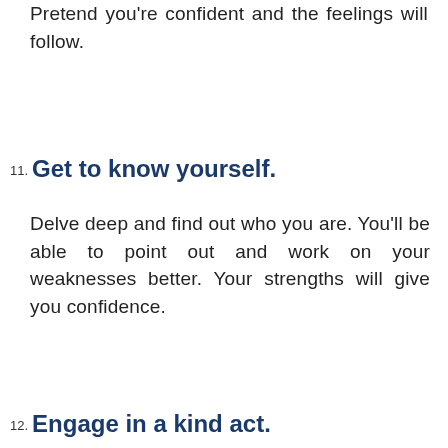Pretend you're confident and the feelings will follow.
11. Get to know yourself.
Delve deep and find out who you are. You'll be able to point out and work on your weaknesses better. Your strengths will give you confidence.
12. Engage in a kind act.